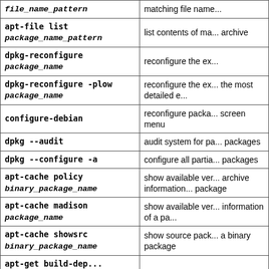| Command | Description |
| --- | --- |
| file_name_pattern | matching file name... |
| apt-file list
package_name_pattern | list contents of ma... archive |
| dpkg-reconfigure package_name | reconfigure the ex... |
| dpkg-reconfigure -plow
package_name | reconfigure the ex... the most detailed e... |
| configure-debian | reconfigure packa... screen menu |
| dpkg --audit | audit system for pa... packages |
| dpkg --configure -a | configure all partia... packages |
| apt-cache policy
binary_package_name | show available ver... archive information... package |
| apt-cache madison
package_name | show available ver... information of a pa... |
| apt-cache showsrc
binary_package_name | show source pack... a binary package |
| apt-get build-dep... |  |